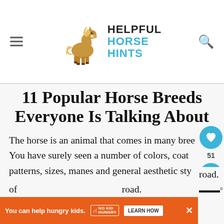Helpful Horse Hints
11 Popular Horse Breeds Everyone Is Talking About
The horse is an animal that comes in many breeds. You have surely seen a number of colors, coat patterns, sizes, manes and general aesthetic styles of road. B in the
You can help hungry kids. NO KID HUNGRY LEARN HOW